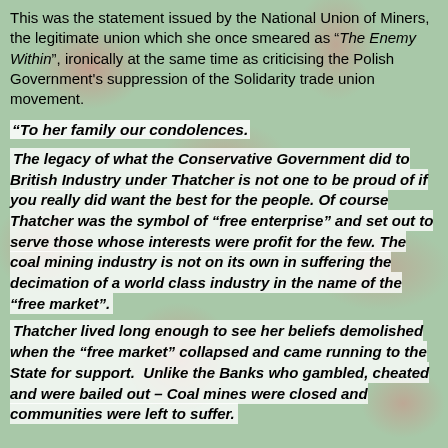This was the statement issued by the National Union of Miners, the legitimate union which she once smeared as "The Enemy Within", ironically at the same time as criticising the Polish Government's suppression of the Solidarity trade union movement.
"To her family our condolences.
The legacy of what the Conservative Government did to British Industry under Thatcher is not one to be proud of if you really did want the best for the people. Of course Thatcher was the symbol of “free enterprise” and set out to serve those whose interests were profit for the few. The coal mining industry is not on its own in suffering the decimation of a world class industry in the name of the “free market”.
Thatcher lived long enough to see her beliefs demolished when the “free market” collapsed and came running to the State for support. Unlike the Banks who gambled, cheated and were bailed out – Coal mines were closed and communities were left to suffer.